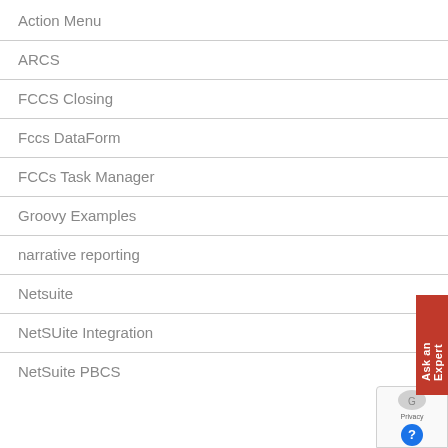Action Menu
ARCS
FCCS Closing
Fccs DataForm
FCCs Task Manager
Groovy Examples
narrative reporting
Netsuite
NetSUite Integration
NetSuite PBCS